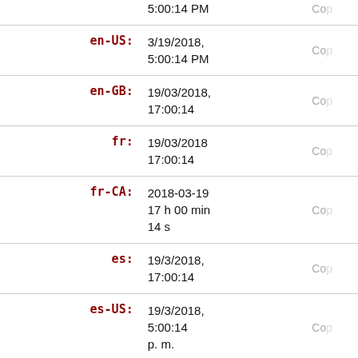| Locale | Formatted datetime | Action |
| --- | --- | --- |
| (partial) | 5:00:14 PM | Co… |
| en-US: | 3/19/2018,
5:00:14 PM | Co… |
| en-GB: | 19/03/2018,
17:00:14 | Co… |
| fr: | 19/03/2018
17:00:14 | Co… |
| fr-CA: | 2018-03-19
17 h 00 min
14 s | Co… |
| es: | 19/3/2018,
17:00:14 | Co… |
| es-US: | 19/3/2018,
5:00:14
p. m. | Co… |
| it: | 19/3/2018, | Co… |